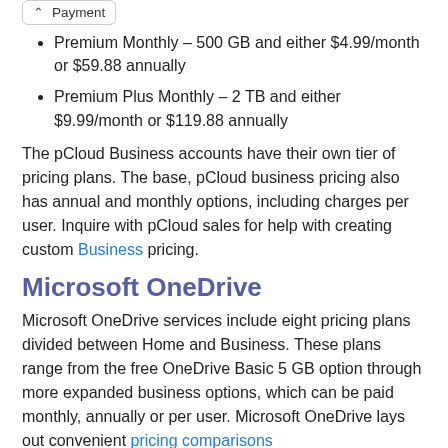Payment
Premium Monthly – 500 GB and either $4.99/month or $59.88 annually
Premium Plus Monthly – 2 TB and either $9.99/month or $119.88 annually
The pCloud Business accounts have their own tier of pricing plans. The base, pCloud business pricing also has annual and monthly options, including charges per user. Inquire with pCloud sales for help with creating custom Business pricing.
Microsoft OneDrive
Microsoft OneDrive services include eight pricing plans divided between Home and Business. These plans range from the free OneDrive Basic 5 GB option through more expanded business options, which can be paid monthly, annually or per user. Microsoft OneDrive lays out convenient pricing comparisons